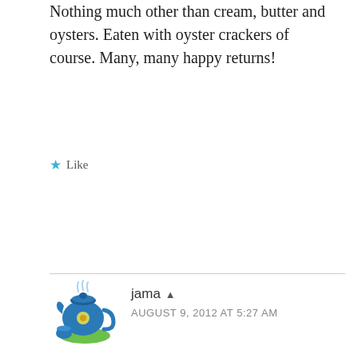Nothing much other than cream, butter and oysters. Eaten with oyster crackers of course. Many, many happy returns!
★ Like
jama ▲ AUGUST 9, 2012 AT 5:27 AM
So nice to be missed, Michelle! I wasn't posting but I was still reading Gourmandistan. Didn't want to miss anything.
Have to say I'm with Steve when it comes to oysters. Could never develop a liking to them. I think it has something to do with the Walrus